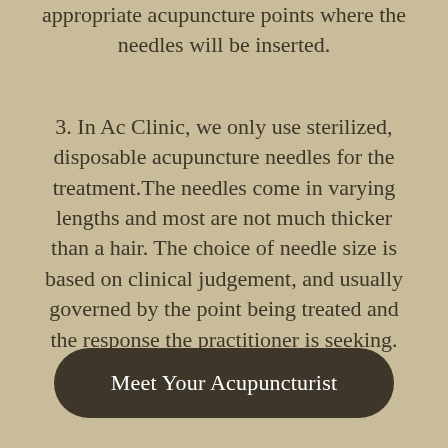appropriate acupuncture points where the needles will be inserted.
3. In Ac Clinic, we only use sterilized, disposable acupuncture needles for the treatment.The needles come in varying lengths and most are not much thicker than a hair. The choice of needle size is based on clinical judgement, and usually governed by the point being treated and the response the practitioner is seeking.
Meet Your Acupuncturist